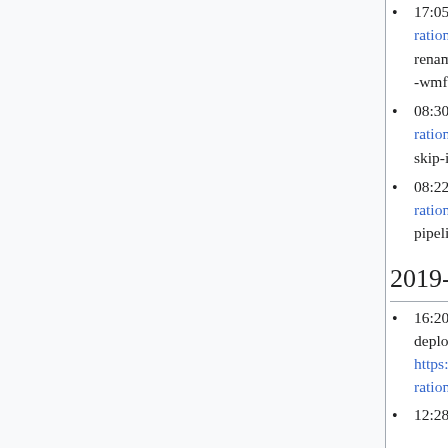17:05 hashar: Reloading Zuul for https://gerrit.wikimedia.org/r/#c/integration/config/+/533880/ "zuul: rename gate-and-submit-swat to use -wmf"
08:30 hashar: Reloading Zuul for https://gerrit.wikimedia.org/r/#c/integration/config/+/533536/ "zuul: drop skip-if for fundraising/REL branch"
08:22 hashar: Reloading Zuul for https://gerrit.wikimedia.org/r/#c/integration/config/+/533532/ "zuul: pipelines for fundraising branches"
2019-08-31
16:20 Krinkle: Reloading Zuul to deploy https://gerrit.wikimedia.org/r/#c/integration/config/+/533628/
12:28 hauskatze: gerrit: created